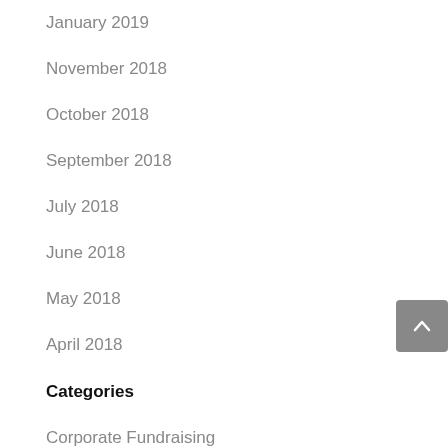January 2019
November 2018
October 2018
September 2018
July 2018
June 2018
May 2018
April 2018
Categories
Corporate Fundraising
Corporate Partnerships
Fundraising
News